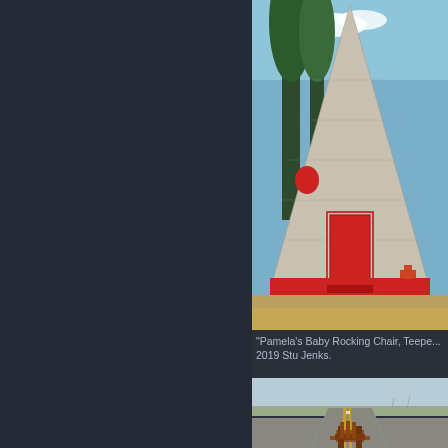[Figure (photo): A teepee-shaped building with white stone/shingled exterior and bright red door, surrounded by tall trees, photographed outdoors in a desert/rural setting.]
"Pamela's Baby Rocking Chair, Teepe... 2019 Stu Jenks.
[Figure (photo): A long straight road stretching to the horizon in a flat desert landscape, with yellow center line markings. A wooden rocking chair is visible in the foreground bottom of the image.]